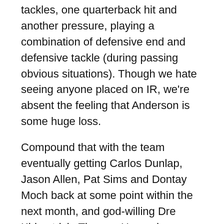tackles, one quarterback hit and another pressure, playing a combination of defensive end and defensive tackle (during passing obvious situations). Though we hate seeing anyone placed on IR, we're absent the feeling that Anderson is some huge loss.
Compound that with the team eventually getting Carlos Dunlap, Jason Allen, Pat Sims and Dontay Moch back at some point within the next month, and god-willing Dre Kirkpatrick. Thomas Howard was a big loss for this defense. Beyond that we're not seeing any major losses with defensive players on IR.
± Cincinnati Bengals head coach Marvin Lewis spoke about Rey Maualuga on Tuesday:
"He's got to make some more plays in the open field.